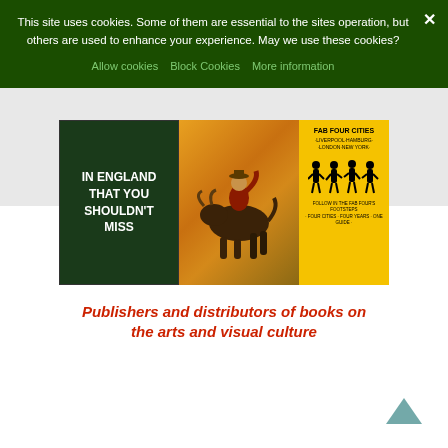This site uses cookies. Some of them are essential to the sites operation, but others are used to enhance your experience. May we use these cookies?
Allow cookies
Block Cookies
More information
[Figure (illustration): Three book covers side by side: 1) Dark green cover 'IN ENGLAND THAT YOU SHOULDN'T MISS', 2) A rodeo painting showing a bull rider, 3) Yellow 'FAB FOUR CITIES' guide cover with Beatles silhouettes and subtitle 'LIVERPOOL HAMBURG LONDON NEW YORK'.]
Publishers and distributors of books on the arts and visual culture